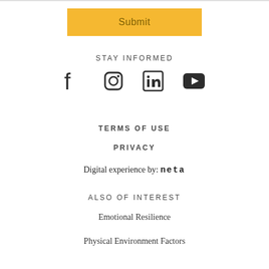Submit
STAY INFORMED
[Figure (other): Social media icons: Facebook, Instagram, LinkedIn, YouTube]
TERMS OF USE
PRIVACY
Digital experience by: neta
ALSO OF INTEREST
Emotional Resilience
Physical Environment Factors